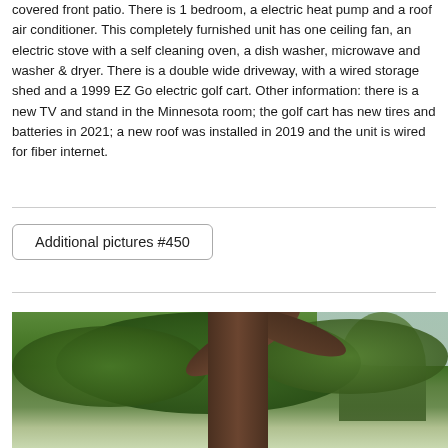covered front patio. There is 1 bedroom, a electric heat pump and a roof air conditioner. This completely furnished unit has one ceiling fan, an electric stove with a self cleaning oven, a dish washer, microwave and washer & dryer. There is a double wide driveway, with a wired storage shed and a 1999 EZ Go electric golf cart. Other information: there is a new TV and stand in the Minnesota room; the golf cart has new tires and batteries in 2021; a new roof was installed in 2019 and the unit is wired for fiber internet.
Additional pictures #450
[Figure (photo): Outdoor photograph showing a large tree with thick trunk and dense green foliage filling most of the frame, with other trees visible in the background and a patch of sky visible on the right side.]